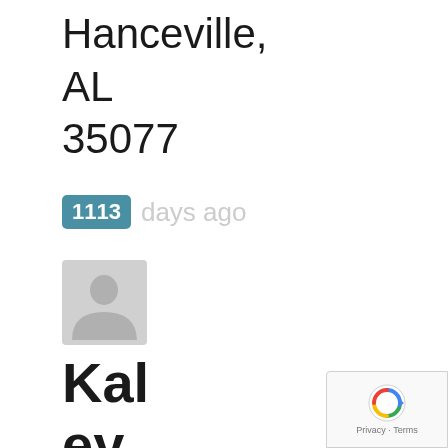Hanceville, AL 35077
1113 days ago
[Figure (illustration): Default user avatar placeholder icon — grey silhouette of a person on light grey background]
Kaley L.